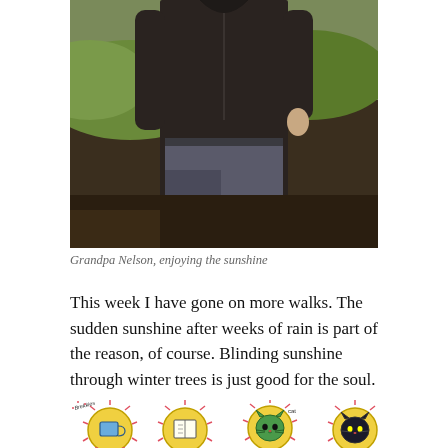[Figure (photo): A person (Grandpa Nelson) standing outdoors in a park wearing a dark brown zip-up jacket and grey trousers, with green grass and dark soil visible in the background on a sunny day.]
Grandpa Nelson, enjoying the sunshine
This week I have gone on more walks. The sudden sunshine after weeks of rain is part of the reason, of course. Blinding sunshine through winter trees is just good for the soul.
[Figure (illustration): A colourful hand-drawn illustration showing circular sun-like figures with cat faces and other characters, with text labels including 'Brekkies' and 'Cat', drawn in a childlike style with pink radiating lines around yellow circles.]